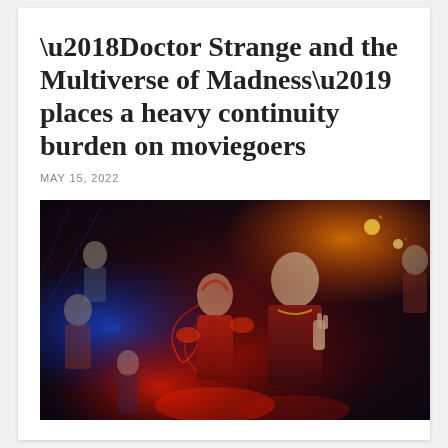‘Doctor Strange and the Multiverse of Madness’ places a heavy continuity burden on moviegoers
MAY 15, 2022
[Figure (photo): Movie promotional poster for Doctor Strange and the Multiverse of Madness showing Doctor Strange and the Scarlet Witch prominently in the foreground with other Marvel characters in the background, featuring red and blue magical energy effects against a dark background.]